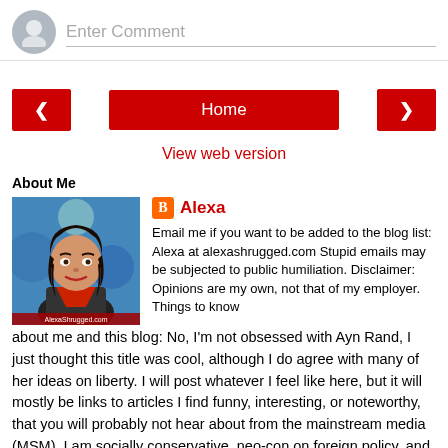[Figure (screenshot): Comment input area with grey avatar circle and 'Enter Comment' placeholder text]
[Figure (screenshot): Navigation row with red left arrow button, red Home button, and red right arrow button]
View web version
About Me
[Figure (illustration): Profile image of Alexa from AlexaShrugged.com - illustrated female avatar with dark hair]
Alexa
Email me if you want to be added to the blog list: Alexa at alexashrugged.com Stupid emails may be subjected to public humiliation. Disclaimer: Opinions are my own, not that of my employer. Things to know about me and this blog: No, I'm not obsessed with Ayn Rand, I just thought this title was cool, although I do agree with many of her ideas on liberty. I will post whatever I feel like here, but it will mostly be links to articles I find funny, interesting, or noteworthy, that you will probably not hear about from the mainstream media (MSM). I am socially conservative, neo-con on foreign policy, and fairly libertarian economically.